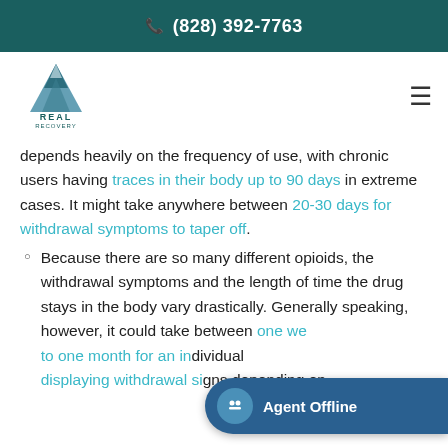(828) 392-7763
[Figure (logo): Real Recovery by Pyramid Healthcare logo with mountain triangle graphic]
depends heavily on the frequency of use, with chronic users having traces in their body up to 90 days in extreme cases. It might take anywhere between 20-30 days for withdrawal symptoms to taper off.
Because there are so many different opioids, the withdrawal symptoms and the length of time the drug stays in the body vary drastically. Generally speaking, however, it could take between one week to one month for an individual displaying withdrawal signs depending on